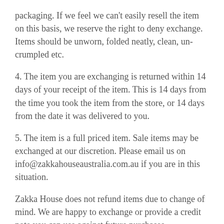packaging. If we feel we can't easily resell the item on this basis, we reserve the right to deny exchange. Items should be unworn, folded neatly, clean, un-crumpled etc.
4. The item you are exchanging is returned within 14 days of your receipt of the item. This is 14 days from the time you took the item from the store, or 14 days from the date it was delivered to you.
5. The item is a full priced item. Sale items may be exchanged at our discretion. Please email us on info@zakkahouseaustralia.com.au if you are in this situation.
Zakka House does not refund items due to change of mind. We are happy to exchange or provide a credit note you can use against future purchases.
Where items are faulty or incomplete, please email the